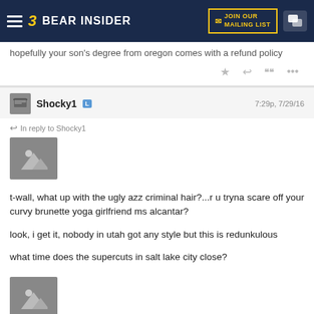Bear Insider - JOIN OUR MAILING LIST
hopefully your son's degree from oregon comes with a refund policy
Shocky1  L  7:29p, 7/29/16
In reply to Shocky1
[Figure (illustration): Image placeholder icon - mountain/landscape thumbnail]
t-wall, what up with the ugly azz criminal hair?...r u tryna scare off your curvy brunette yoga girlfriend ms alcantar?

look, i get it, nobody in utah got any style but this is redunkulous

what time does the supercuts in salt lake city close?
[Figure (illustration): Image placeholder icon - mountain/landscape thumbnail]
[Figure (screenshot): Video thumbnail - Phantogram - Fall In ...]